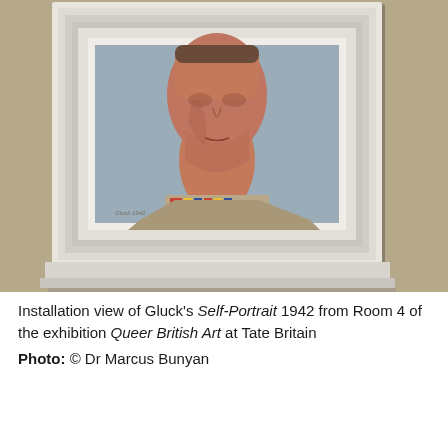[Figure (photo): Installation photograph showing a framed painting mounted on a beige/khaki gallery wall. The painting is Gluck's Self-Portrait 1942 — a partial view of a figure's face and neck wearing military-style clothing with medals/ribbons. The painting is set in a white stepped/moulded frame with a protruding shelf-like ledge at the bottom.]
Installation view of Gluck's Self-Portrait 1942 from Room 4 of the exhibition Queer British Art at Tate Britain
Photo: © Dr Marcus Bunyan